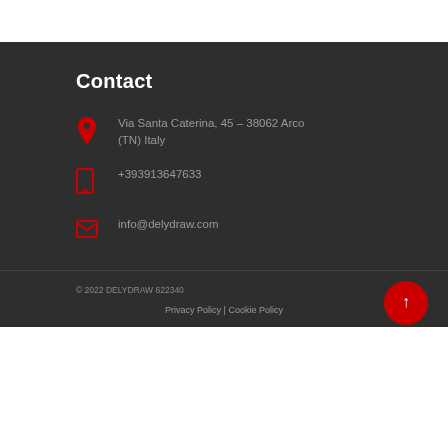Contact
Via Santa Caterina, 45 – 38062 Arco (TN) Italy
+393913647633
info@delydraw.com
© 2022 DELYDRAW 622340
Privacy Policy | Cookie Policy